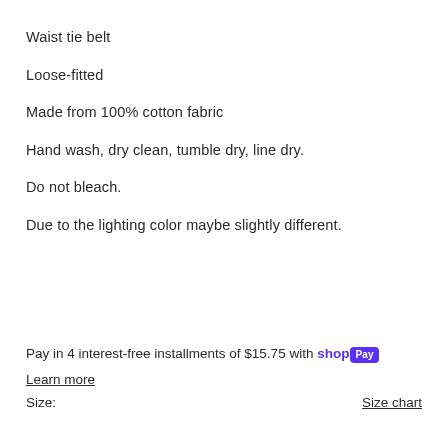Waist tie belt
Loose-fitted
Made from 100% cotton fabric
Hand wash, dry clean, tumble dry, line dry.
Do not bleach.
Due to the lighting color maybe slightly different.
Pay in 4 interest-free installments of $15.75 with shop Pay
Learn more
Size:         Size chart